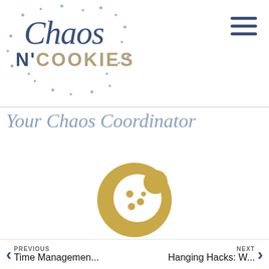[Figure (logo): Chaos N' Cookies blog logo with scattered dots, cursive 'Chaos' text in dark blue, and 'N' COOKIES' in gold/blue block letters]
[Figure (illustration): Hamburger menu icon with three dark blue horizontal lines]
Your Chaos Coordinator
[Figure (illustration): Gold circle with a white cookie icon in the center]
PREVIOUS Time Managem en... NEXT Hanging Hacks: W...